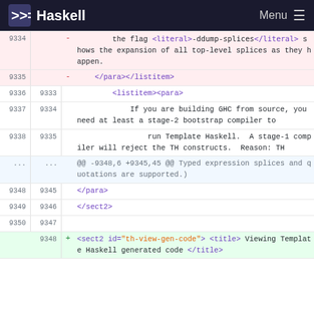Haskell   Menu
Code diff view showing lines 9334-9350 with XML/DocBook markup for Haskell documentation. Deleted lines (pink) and added lines (green) showing changes to Template Haskell section.